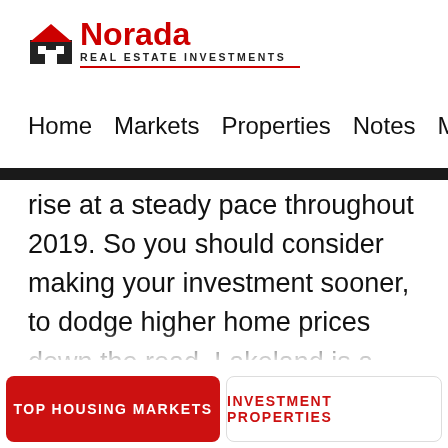[Figure (logo): Norada Real Estate Investments logo with house icon and red text]
Home  Markets  Properties  Notes  Members
rise at a steady pace throughout 2019. So you should consider making your investment sooner, to dodge higher home prices down the road. Lakeland is a modest city of around a hundred thousand people. It is part of the Lakeland-Winter Haven metropolitan area; that is home to over six hundred
TOP HOUSING MARKETS   INVESTMENT PROPERTIES